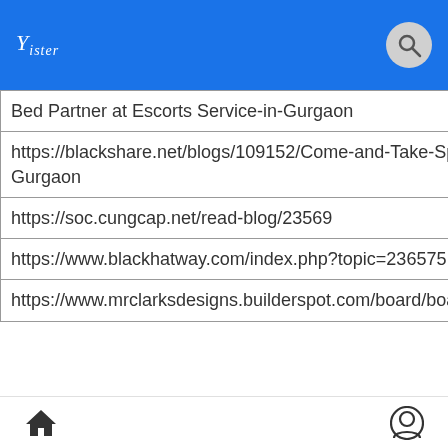Yister (logo) [search icon]
| Bed Partner at Escorts Service-in-Gurgaon |
| https://blackshare.net/blogs/109152/Come-and-Take-Special-Escorts-Service-Gurgaon |
| https://soc.cungcap.net/read-blog/23569 |
| https://www.blackhatway.com/index.php?topic=236575.0 |
| https://www.mrclarksdesigns.builderspot.com/board/board_topic/690695/5627467.htm |
[home icon] [user icon]